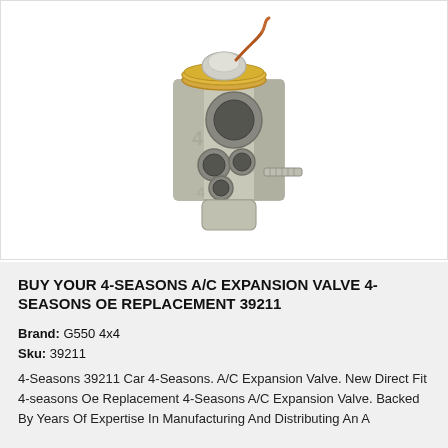[Figure (photo): A 4-Seasons A/C expansion valve (part 39211). The valve is a silver/nickel-colored metal block with multiple circular port openings on the front face, a threaded stud protruding from the side, and a brass/gold-colored circular thermostatic element on top with copper capillary tube. The valve has a cylindrical bottom fitting.]
BUY YOUR 4-SEASONS A/C EXPANSION VALVE 4-SEASONS OE REPLACEMENT 39211
Brand: G550 4x4
Sku: 39211
4-Seasons 39211 Car 4-Seasons. A/C Expansion Valve. New Direct Fit 4-seasons Oe Replacement 4-Seasons A/C Expansion Valve. Backed By Years Of Expertise In Manufacturing And Distributing An A